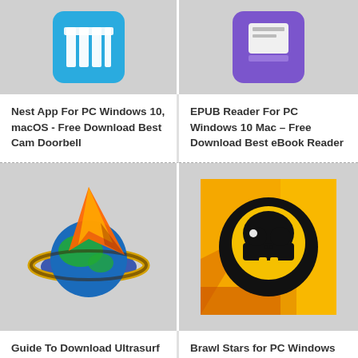[Figure (screenshot): App icon for Nest app – blue grid/table icon on grey background]
[Figure (screenshot): App icon for EPUB Reader – purple icon with white card/page on grey background]
Nest App For PC Windows 10, macOS - Free Download Best Cam Doorbell
EPUB Reader For PC Windows 10 Mac – Free Download Best eBook Reader
[Figure (screenshot): Ultrasurf app icon – colorful globe with orange sail/comet shape on grey background]
[Figure (screenshot): Brawl Stars app icon – yellow/orange background with black skull icon]
Guide To Download Ultrasurf For PC Windows 10 and macOS
Brawl Stars for PC Windows 10, Mac -Guide To Free Download and